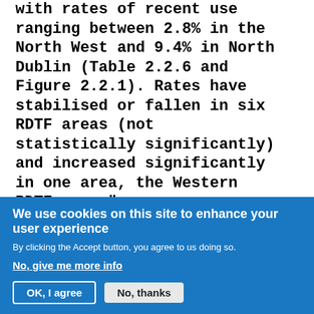with rates of recent use ranging between 2.8% in the North West and 9.4% in North Dublin (Table 2.2.6 and Figure 2.2.1). Rates have stabilised or fallen in six RDTF areas (not statistically significantly) and increased significantly in one area, the Western RDTF area."
Irish Focal Point (2012) "2012 National Report (2011 data) to the EMCDDA by the Reitox National Focal Point" Ireland: new
We use cookies on this site to enhance your user experience
By clicking the Accept button, you agree to us doing so.
No, give me more info
OK, I agree
No, thanks